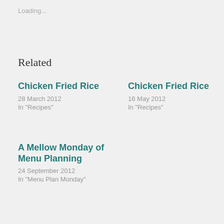Loading...
Related
Chicken Fried Rice
28 March 2012
In "Recipes"
Chicken Fried Rice
16 May 2012
In "Recipes"
A Mellow Monday of Menu Planning
24 September 2012
In "Menu Plan Monday"